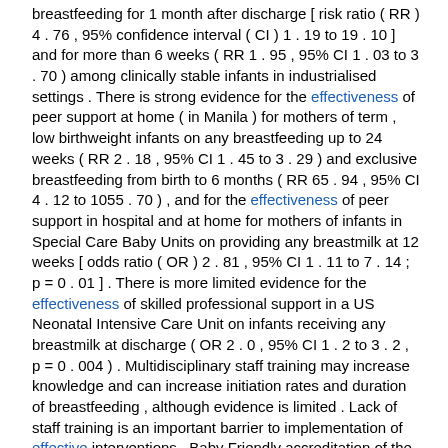breastfeeding for 1 month after discharge [ risk ratio ( RR ) 4 . 76 , 95% confidence interval ( CI ) 1 . 19 to 19 . 10 ] and for more than 6 weeks ( RR 1 . 95 , 95% CI 1 . 03 to 3 . 70 ) among clinically stable infants in industrialised settings . There is strong evidence for the effectiveness of peer support at home ( in Manila ) for mothers of term , low birthweight infants on any breastfeeding up to 24 weeks ( RR 2 . 18 , 95% CI 1 . 45 to 3 . 29 ) and exclusive breastfeeding from birth to 6 months ( RR 65 . 94 , 95% CI 4 . 12 to 1055 . 70 ) , and for the effectiveness of peer support in hospital and at home for mothers of infants in Special Care Baby Units on providing any breastmilk at 12 weeks [ odds ratio ( OR ) 2 . 81 , 95% CI 1 . 11 to 7 . 14 ; p = 0 . 01 ] . There is more limited evidence for the effectiveness of skilled professional support in a US Neonatal Intensive Care Unit on infants receiving any breastmilk at discharge ( OR 2 . 0 , 95% CI 1 . 2 to 3 . 2 , p = 0 . 004 ) . Multidisciplinary staff training may increase knowledge and can increase initiation rates and duration of breastfeeding , although evidence is limited . Lack of staff training is an important barrier to implementation of effective interventions . Baby Friendly accreditation of the associated maternity hospital results in improvements in several breastfeeding-related outcomes for infants in neonatal units . Limited evidence suggests that cup feeding ( versus bottle feeding ) may increase breastfeeding at discharge and reduce the frequency of oxygen desaturation . Breastmilk expression using simultaneous pumping with an electric pump has advantages in the first 2 weeks . Pharmaceutical galactagogues have little benefit among mothers who have recently given birth . Our economic analysis found that additional skilled professional support in hospital was more effective and less costly ( due to reduced neonatal illness ) than normal staff contact . Additional support ranged from 0 . 009 quality-adjusted life-years ( QALYs ) to 0 . 251 QALYs more beneficial per infant and ranged from 66